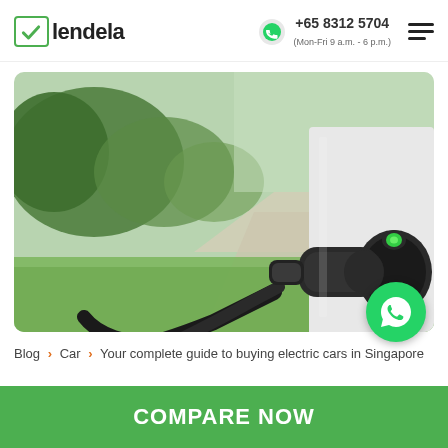lendela | +65 8312 5704 (Mon-Fri 9 a.m. - 6 p.m.)
[Figure (photo): An electric vehicle charger plugged into a white car, photographed outdoors with green trees and a pathway in the background. A green WhatsApp floating button is overlaid in the bottom-right corner of the image.]
Blog › Car › Your complete guide to buying electric cars in Singapore
COMPARE NOW